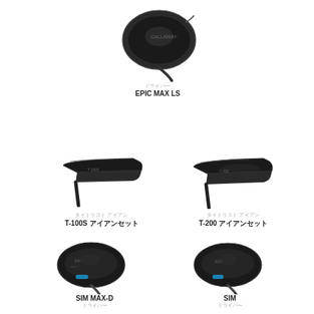[Figure (photo): Callaway Epic Max LS driver golf club, top view, dark head]
ドライバー
EPIC MAX LS
[Figure (photo): Titleist T-100S iron golf club, black head, address position]
タイトリスト アイアン
T-100S アイアンセット
[Figure (photo): Titleist T-200 iron golf club, black head, address position]
タイトリスト アイアン
T-200 アイアンセット
[Figure (photo): TaylorMade SIM MAX-D driver golf club with blue weight, dark head]
SIM MAX-D
ドライバー
[Figure (photo): TaylorMade SIM driver golf club with blue weight, dark head]
SIM
ドライバー
[Figure (photo): TaylorMade SIM MAX driver golf club with blue weight]
SIM MAX
[Figure (photo): Golf driver with silver/white head shown from multiple angles]
ドライバー